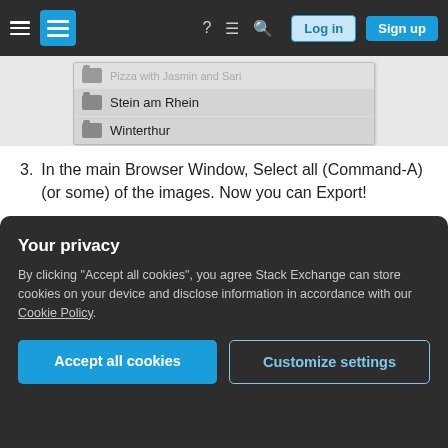Stack Exchange navigation bar with hamburger menu, logo, help, chat, search icons, Log in and Sign up buttons
[Figure (screenshot): Screenshot of a list/dropdown showing items: Pizza with Jasmin and Sari (partially visible), Stein am Rhein, Winterthur — each with a folder/archive icon]
In the main Browser Window, Select all (Command-A) (or some) of the images. Now you can Export!
I wanted to export the files as Originals (retaining the original date information of when they were created) and placed into subfolders that have the same name as my Aperture Projects. This is what I did:
Your privacy
By clicking "Accept all cookies", you agree Stack Exchange can store cookies on your device and disclose information in accordance with our Cookie Policy.
Accept all cookies  Customize settings